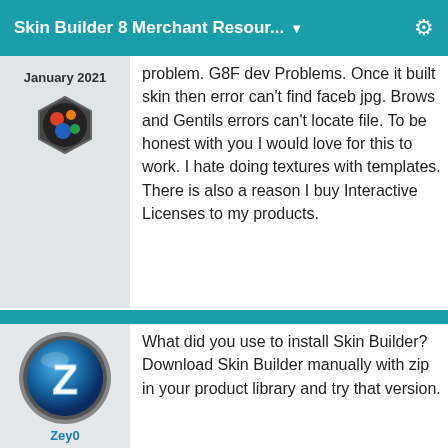Skin Builder 8 Merchant Resour... ▼ ⚙
January 2021
problem. G8F dev Problems. Once it built skin then error can't find faceb jpg. Brows and Gentils errors can't locate file. To be honest with you I would love for this to work. I hate doing textures with templates. There is also a reason I buy Interactive Licenses to my products.
What did you use to install Skin Builder? Download Skin Builder manually with zip in your product library and try that version.
Zey0